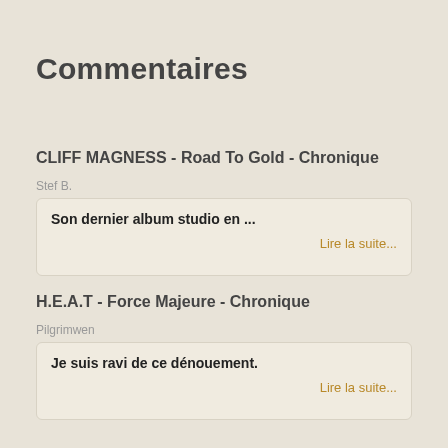Commentaires
CLIFF MAGNESS - Road To Gold - Chronique
Stef B.
Son dernier album studio en ...
Lire la suite...
H.E.A.T - Force Majeure - Chronique
Pilgrimwen
Je suis ravi de ce dénouement.
Lire la suite...